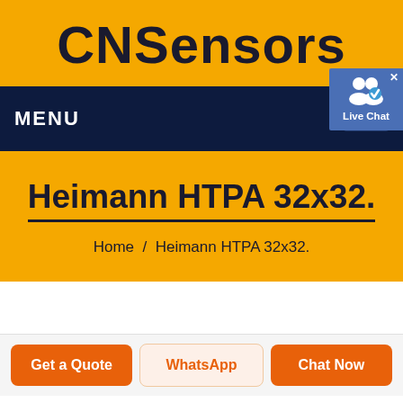CNSensors
MENU
[Figure (screenshot): Live Chat widget with user group icon and close button]
Heimann HTPA 32x32.
Home / Heimann HTPA 32x32.
Get a Quote
WhatsApp
Chat Now